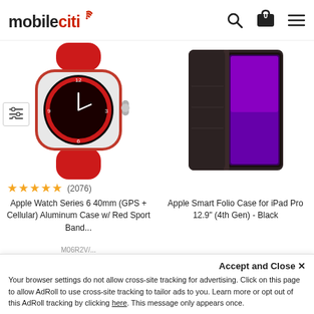[Figure (logo): Mobileciti logo with signal icon in red]
[Figure (photo): Apple Watch Series 6 40mm in red with red sport band]
[Figure (photo): Apple Smart Folio Case for iPad Pro 12.9 inch 4th Gen in Black]
★★★★★ (2076)
Apple Watch Series 6 40mm (GPS + Cellular) Aluminum Case w/ Red Sport Band...
Apple Smart Folio Case for iPad Pro 12.9" (4th Gen) - Black
Accept and Close ✕
Your browser settings do not allow cross-site tracking for advertising. Click on this page to allow AdRoll to use cross-site tracking to tailor ads to you. Learn more or opt out of this AdRoll tracking by clicking here. This message only appears once.